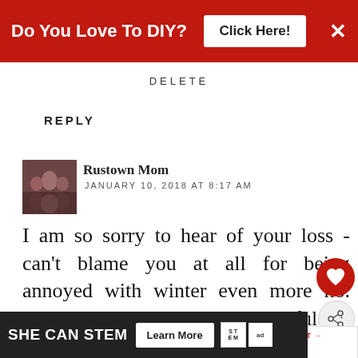[Figure (screenshot): Red advertisement banner at top: 'Do You Love To DIY? Click Here!' with X close button]
DELETE
REPLY
[Figure (photo): Small avatar photo of a group of people]
Rustown Mom
JANUARY 10, 2018 AT 8:17 AM
I am so sorry to hear of your loss - can't blame you at all for being annoyed with winter even more no. And I am glad it was so peaceful for her, even with the darn cyclone happening. I can't even imagine living in that kind of
[Figure (screenshot): Bottom advertisement banner: SHE CAN STEM with Learn More button, STEM and Ad Council logos]
[Figure (screenshot): What's Next overlay with thumbnail: Easy DIY Mother's Da...]